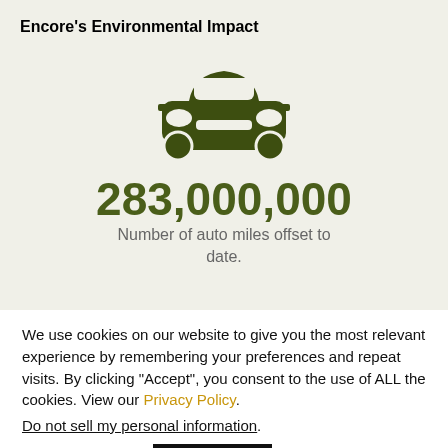Encore's Environmental Impact
[Figure (illustration): Car icon (front view) rendered in dark olive green]
283,000,000
Number of auto miles offset to date.
We use cookies on our website to give you the most relevant experience by remembering your preferences and repeat visits. By clicking “Accept”, you consent to the use of ALL the cookies. View our Privacy Policy.
Do not sell my personal information.
Cookie settings
ACCEPT